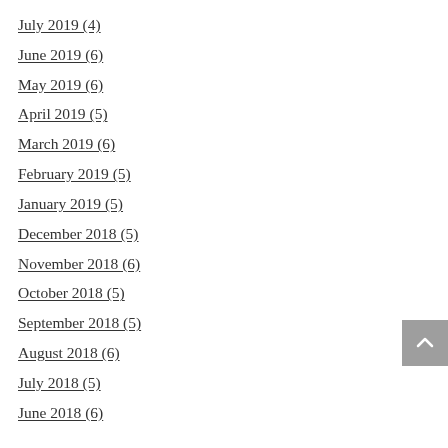July 2019 (4)
June 2019 (6)
May 2019 (6)
April 2019 (5)
March 2019 (6)
February 2019 (5)
January 2019 (5)
December 2018 (5)
November 2018 (6)
October 2018 (5)
September 2018 (5)
August 2018 (6)
July 2018 (5)
June 2018 (6)